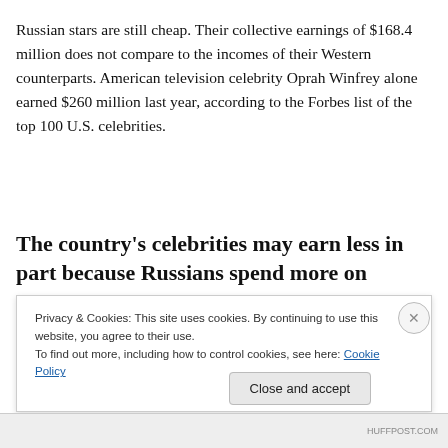Russian stars are still cheap. Their collective earnings of $168.4 million does not compare to the incomes of their Western counterparts. American television celebrity Oprah Winfrey alone earned $260 million last year, according to the Forbes list of the top 100 U.S. celebrities.
The country’s celebrities may earn less in part because Russians spend more on
Privacy & Cookies: This site uses cookies. By continuing to use this website, you agree to their use.
To find out more, including how to control cookies, see here: Cookie Policy
Close and accept